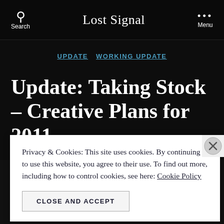Lost Signal
UPDATE   WORKING UPDATE
Update: Taking Stock – Creative Plans for 2011
By Brandon J. Rucker   February 18, 2011
Privacy & Cookies: This site uses cookies. By continuing to use this website, you agree to their use. To find out more, including how to control cookies, see here: Cookie Policy
CLOSE AND ACCEPT